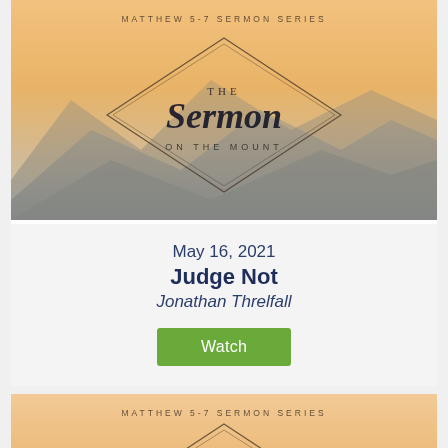[Figure (illustration): Sermon on the Mount series image with mountain landscape background, warm orange/golden sky, diamond shape outline containing script text 'the Sermon ON THE MOUNT', and small text 'MATTHEW 5-7 SERMON SERIES' at top]
May 16, 2021
Judge Not
Jonathan Threlfall
Watch
[Figure (illustration): Second partial Sermon on the Mount series image, same style as above, cropped showing top portion with 'MATTHEW 5-7 SERMON SERIES' text and partial diamond logo with 'THE Serm' visible]